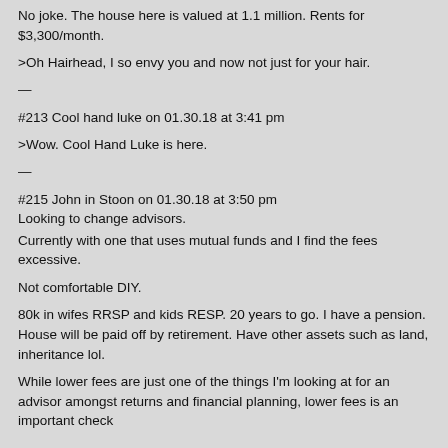No joke. The house here is valued at 1.1 million. Rents for $3,300/month.
>Oh Hairhead, I so envy you and now not just for your hair.
—
#213 Cool hand luke on 01.30.18 at 3:41 pm
>Wow. Cool Hand Luke is here.
—
#215 John in Stoon on 01.30.18 at 3:50 pm
Looking to change advisors.
Currently with one that uses mutual funds and I find the fees excessive.
Not comfortable DIY.
80k in wifes RRSP and kids RESP. 20 years to go. I have a pension. House will be paid off by retirement. Have other assets such as land, inheritance lol.
While lower fees are just one of the things I'm looking at for an advisor amongst returns and financial planning, lower fees is an important check